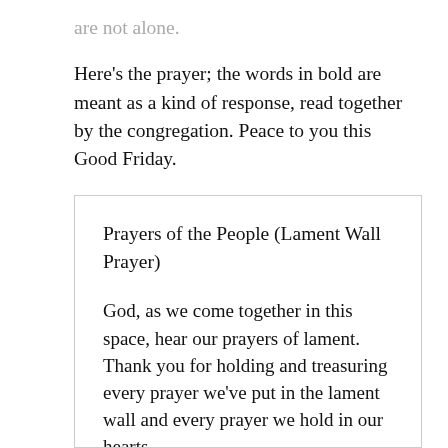are not alone.
Here’s the prayer; the words in bold are meant as a kind of response, read together by the congregation. Peace to you this Good Friday.
Prayers of the People (Lament Wall Prayer)
God, as we come together in this space, hear our prayers of lament. Thank you for holding and treasuring every prayer we’ve put in the lament wall and every prayer we hold in our hearts.
God, our wounds are real, both the physical ones and the ones that are harder to see.
We long for your healing, comforting